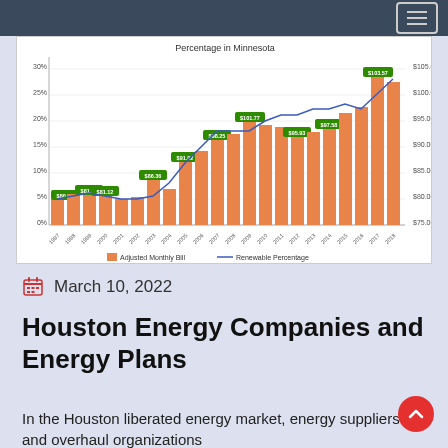[Figure (grouped-bar-chart): Percentage in Minnesota]
March 10, 2022
Houston Energy Companies and Energy Plans
In the Houston liberated energy market, energy suppliers and overhaul organizations